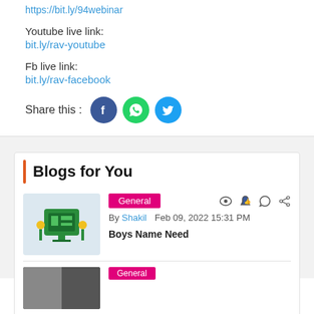https://bit.ly/94webinar
Youtube live link:
bit.ly/rav-youtube
Fb live link:
bit.ly/rav-facebook
Share this :
Blogs for You
[Figure (other): Blog thumbnail showing a green computer/education logo with yellow flowers]
General
By Shakil  Feb 09, 2022 15:31 PM
Boys Name Need